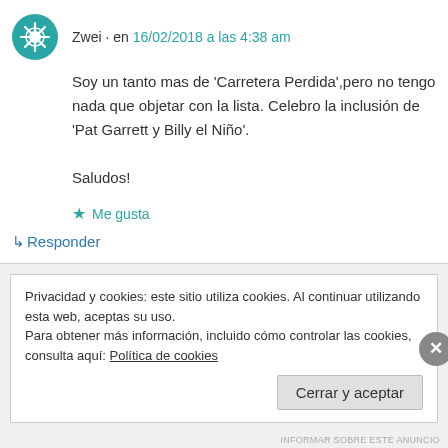Zwei · en 16/02/2018 a las 4:38 am
Soy un tanto mas de 'Carretera Perdida',pero no tengo nada que objetar con la lista. Celebro la inclusión de 'Pat Garrett y Billy el Niño'.

Saludos!
★ Me gusta
↳ Responder
Privacidad y cookies: este sitio utiliza cookies. Al continuar utilizando esta web, aceptas su uso.
Para obtener más información, incluido cómo controlar las cookies, consulta aquí: Política de cookies
Cerrar y aceptar